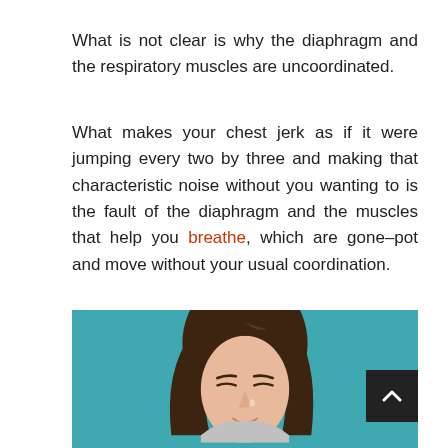What is not clear is why the diaphragm and the respiratory muscles are uncoordinated.
What makes your chest jerk as if it were jumping every two by three and making that characteristic noise without you wanting to is the fault of the diaphragm and the muscles that help you breathe, which are gone–pot and move without your usual coordination.
[Figure (photo): A young woman with brown hair and closed eyes, holding her finger to her nose against a teal background.]